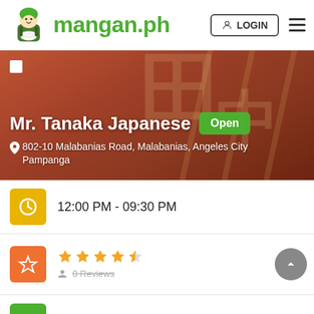mangan.ph — LOGIN
[Figure (screenshot): Banner image of Mr. Tanaka Japanese restaurant with reddish-brown background showing wooden Japanese signage]
Mr. Tanaka Japanese
Open
802-10 Malabanias Road, Malabanias, Angeles City Pampanga
12:00 PM - 09:30 PM
★★★★☆ 0 Reviews
Min Order 0